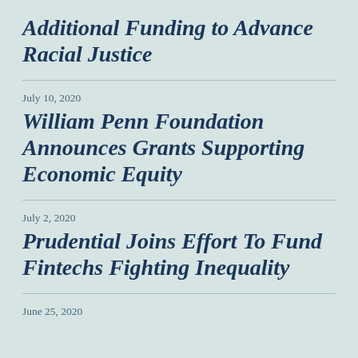Additional Funding to Advance Racial Justice
July 10, 2020
William Penn Foundation Announces Grants Supporting Economic Equity
July 2, 2020
Prudential Joins Effort To Fund Fintechs Fighting Inequality
June 25, 2020